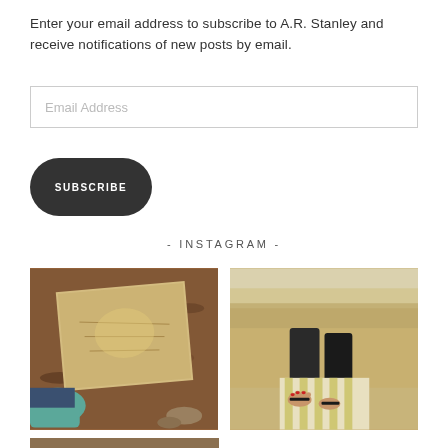Enter your email address to subscribe to A.R. Stanley and receive notifications of new posts by email.
Email Address
SUBSCRIBE
- INSTAGRAM -
[Figure (photo): Overhead view of a folded map on brown dirt/leaf ground with a teal sneaker visible and some rocks]
[Figure (photo): Feet in sandals at a sandy beach with water, person wearing striped yellow-white pants]
[Figure (photo): Partial bottom photo, cut off]